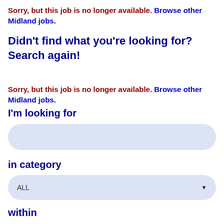Sorry, but this job is no longer available. Browse other Midland jobs.
Didn't find what you're looking for? Search again!
Sorry, but this job is no longer available. Browse other Midland jobs.
I'm looking for
[Figure (other): Text input search field (rounded rectangle, light blue background)]
in category
[Figure (other): Dropdown select box showing ALL with down arrow (rounded rectangle, light blue background)]
within
[Figure (other): Dropdown select box showing 100 Miles of Midland with down arrow (rounded rectangle, light blue background)]
[Figure (other): Dark navy blue button (partially visible at bottom of page)]